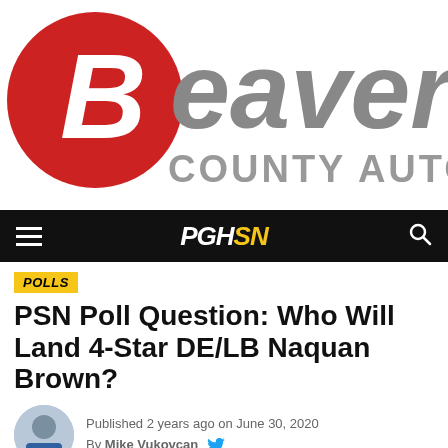[Figure (logo): Beaver County Auto advertisement logo with red circle containing white 'B' and large grey 'eaver' text, with 'COUNTY AUTO' below in grey]
[Figure (logo): PGHSN navigation bar with hamburger menu on left, PGHSN logo in center (PGH in white, SN in yellow, italic), and search icon on right, all on black background]
POLLS
PSN Poll Question: Who Will Land 4-Star DE/LB Naquan Brown?
Published 2 years ago on June 30, 2020
By Mike Vukovcan
[Figure (photo): Bottom portion showing a gold and blue Pitt / ACC branded backdrop with Pitt and ACC logos repeated]